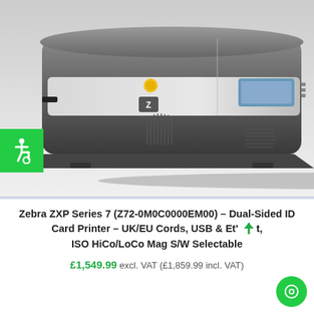[Figure (photo): A Zebra ZXP Series 7 dual-sided ID card printer photographed at an angle on a white background. The printer is dark grey/charcoal with a silver/white front panel, a yellow button, a small Zebra logo, and a blue LCD display on the right side. A green accessibility (wheelchair) badge is overlaid in the lower-left corner of the image.]
Zebra ZXP Series 7 (Z72-0M0C0000EM00) – Dual-Sided ID Card Printer – UK/EU Cords, USB & Et't, ISO HiCo/LoCo Mag S/W Selectable
£1,549.99 excl. VAT (£1,859.99 incl. VAT)